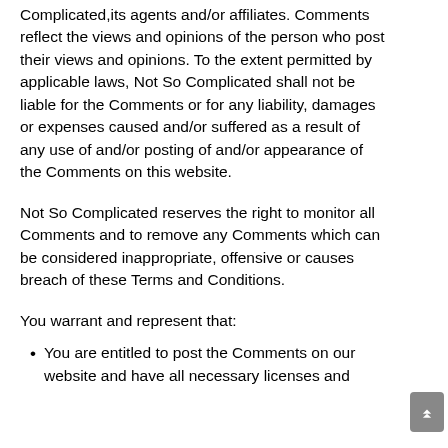Complicated,its agents and/or affiliates. Comments reflect the views and opinions of the person who post their views and opinions. To the extent permitted by applicable laws, Not So Complicated shall not be liable for the Comments or for any liability, damages or expenses caused and/or suffered as a result of any use of and/or posting of and/or appearance of the Comments on this website.
Not So Complicated reserves the right to monitor all Comments and to remove any Comments which can be considered inappropriate, offensive or causes breach of these Terms and Conditions.
You warrant and represent that:
You are entitled to post the Comments on our website and have all necessary licenses and